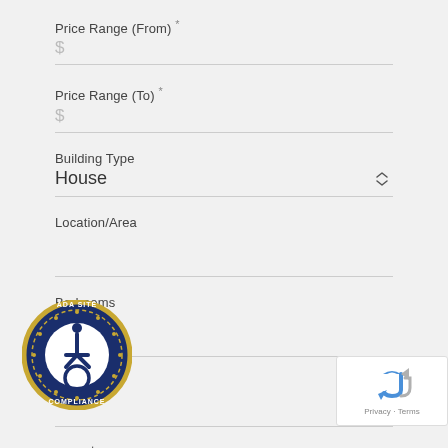Price Range (From) *
$
Price Range (To) *
$
Building Type
House
Location/Area
Bedrooms
...rooms
...ments
[Figure (logo): ADA Site Compliance badge — circular dark blue badge with gold border, accessibility wheelchair icon in center, text 'ADA SITE COMPLIANCE' around edge]
[Figure (logo): Google reCAPTCHA badge — white box with reCAPTCHA icon and 'Privacy - Terms' text]